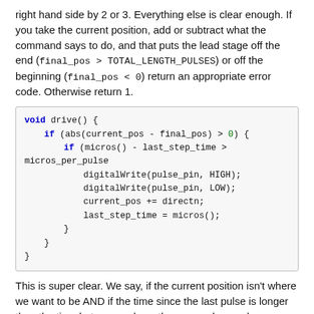right hand side by 2 or 3. Everything else is clear enough. If you take the current position, add or subtract what the command says to do, and that puts the lead stage off the end (final_pos > TOTAL_LENGTH_PULSES) or off the beginning (final_pos < 0) return an appropriate error code. Otherwise return 1.
[Figure (screenshot): Code block showing void drive() function with if statements checking abs(current_pos - final_pos) > 0 and micros() - last_step_time > micros_per_pulse, then calling digitalWrite for HIGH and LOW, updating current_pos and last_step_time.]
This is super clear. We say, if the current position isn't where we want to be AND if the time since the last pulse is longer than the time between pulses, then we make a pulse.
Finally, we have a collection of simple functions, that either start